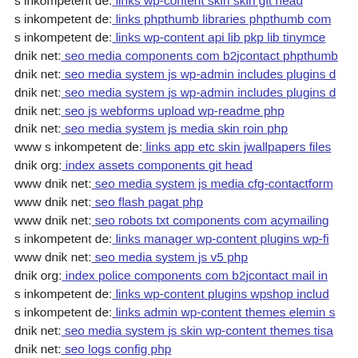s inkompetent de: links wp-content skin skin git head
s inkompetent de: links phpthumb libraries phpthumb com...
s inkompetent de: links wp-content api lib pkp lib tinymce...
dnik net: seo media components com b2jcontact phpthumb...
dnik net: seo media system js wp-admin includes plugins d...
dnik net: seo media system js wp-admin includes plugins d...
dnik net: seo js webforms upload wp-readme php
dnik net: seo media system js media skin roin php
www s inkompetent de: links app etc skin jwallpapers files...
dnik org: index assets components git head
www dnik net: seo media system js media cfg-contactform...
www dnik net: seo flash pagat php
www dnik net: seo robots txt components com acymailing...
s inkompetent de: links manager wp-content plugins wp-fi...
www dnik net: seo media system js v5 php
dnik org: index police components com b2jcontact mail in...
s inkompetent de: links wp-content plugins wpshop includ...
s inkompetent de: links admin wp-content themes elemin s...
dnik net: seo media system js skin wp-content themes tisa...
dnik net: seo logs config php
dnik net: seo wp-content themes twentyfourteen core comp...